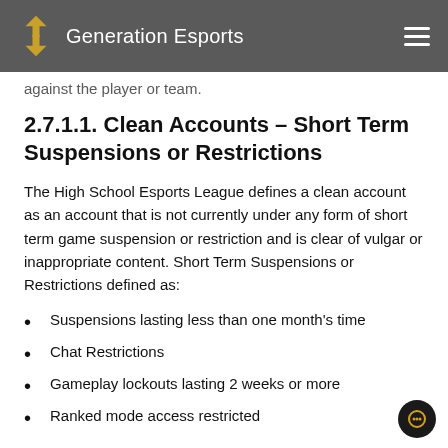Generation Esports
against the player or team.
2.7.1.1. Clean Accounts – Short Term Suspensions or Restrictions
The High School Esports League defines a clean account as an account that is not currently under any form of short term game suspension or restriction and is clear of vulgar or inappropriate content. Short Term Suspensions or Restrictions defined as:
Suspensions lasting less than one month's time
Chat Restrictions
Gameplay lockouts lasting 2 weeks or more
Ranked mode access restricted